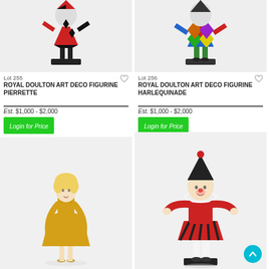[Figure (photo): Royal Doulton Art Deco figurine Pierrette - harlequin/jester figure in red and black diamond costume on black base, top portion visible]
Lot 255
ROYAL DOULTON ART DECO FIGURINE PIERRETTE
Est.   $1,000 - $2,000
Login for Price
[Figure (photo): Royal Doulton Art Deco figurine Harlequinade - harlequin figure in colorful diamond-patterned costume, top portion visible]
Lot 256
ROYAL DOULTON ART DECO FIGURINE HARLEQUINADE
Est.   $1,000 - $2,000
Login for Price
[Figure (photo): Royal Doulton figurine of a female character in a golden dress, blonde hair, shown full figure]
[Figure (photo): Royal Doulton figurine of a male jester/harlequin character in red and black costume with white ruff collar, standing on black base]